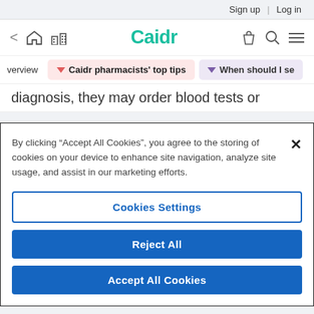Sign up | Log in
[Figure (screenshot): Caidr website navigation bar with back arrow, home, bookmark icons on left, Caidr logo in center, bag, search, menu icons on right]
Caidr pharmacists' top tips | When should I se
diagnosis, they may order blood tests or
By clicking "Accept All Cookies", you agree to the storing of cookies on your device to enhance site navigation, analyze site usage, and assist in our marketing efforts.
Cookies Settings
Reject All
Accept All Cookies